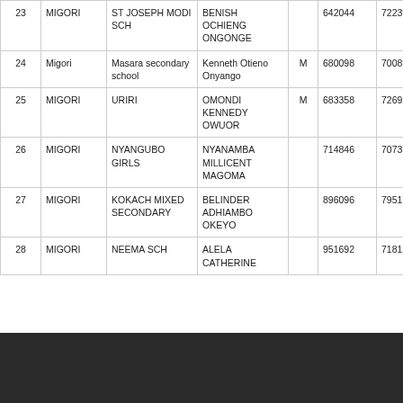| # | Region | School | Name | Sex | ID1 | ID2 |
| --- | --- | --- | --- | --- | --- | --- |
| 23 | MIGORI | ST JOSEPH MODI SCH | BENISH OCHIENG ONGONGE |  | 642044 | 72239 |
| 24 | Migori | Masara secondary school | Kenneth Otieno Onyango | M | 680098 | 70089 |
| 25 | MIGORI | URIRI | OMONDI KENNEDY OWUOR | M | 683358 | 72692 |
| 26 | MIGORI | NYANGUBO GIRLS | NYANAMBA MILLICENT MAGOMA |  | 714846 | 70733 |
| 27 | MIGORI | KOKACH MIXED SECONDARY | BELINDER ADHIAMBO OKEYO |  | 896096 | 79517 |
| 28 | MIGORI | NEEMA SCH | ALELA CATHERINE |  | 951692 | 71813 |